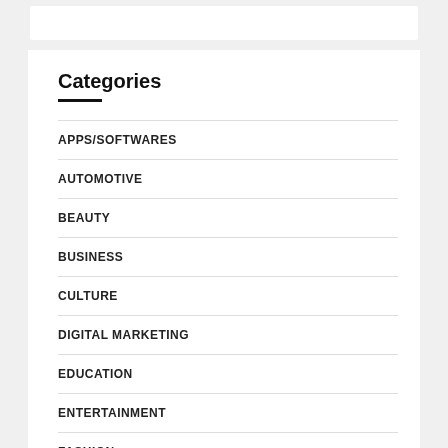Categories
APPS/SOFTWARES
AUTOMOTIVE
BEAUTY
BUSINESS
CULTURE
DIGITAL MARKETING
EDUCATION
ENTERTAINMENT
FASHION